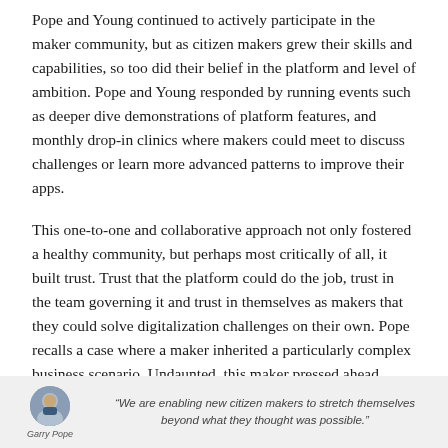Pope and Young continued to actively participate in the maker community, but as citizen makers grew their skills and capabilities, so too did their belief in the platform and level of ambition. Pope and Young responded by running events such as deeper dive demonstrations of platform features, and monthly drop-in clinics where makers could meet to discuss challenges or learn more advanced patterns to improve their apps.
This one-to-one and collaborative approach not only fostered a healthy community, but perhaps most critically of all, it built trust. Trust that the platform could do the job, trust in the team governing it and trust in themselves as makers that they could solve digitalization challenges on their own. Pope recalls a case where a maker inherited a particularly complex business scenario. Undaunted, this maker pressed ahead, telling Pope “I didn’t really want to take this on, but I knew I had you two to help me.”
[Figure (photo): Quote box with a circular avatar photo of Garry Pope on the left, his name below in italic text, and an italic quote: "We are enabling new citizen makers to stretch themselves beyond what they thought was possible."]